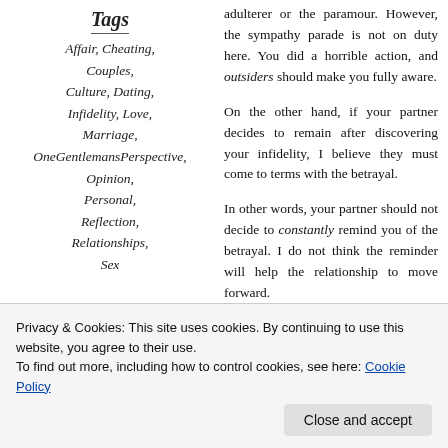Tags
Affair, Cheating, Couples, Culture, Dating, Infidelity, Love, Marriage, OneGentlemansPerspective, Opinion, Personal, Reflection, Relationships, Sex
adulterer or the paramour. However, the sympathy parade is not on duty here. You did a horrible action, and outsiders should make you fully aware.
On the other hand, if your partner decides to remain after discovering your infidelity, I believe they must come to terms with the betrayal.
In other words, your partner should not decide to constantly remind you of the betrayal. I do not think the reminder will help the relationship to move forward.
However, the outsiders that I am referring to, are
Privacy & Cookies: This site uses cookies. By continuing to use this website, you agree to their use. To find out more, including how to control cookies, see here: Cookie Policy
Close and accept
are not a victim. One infidelity is not the same as